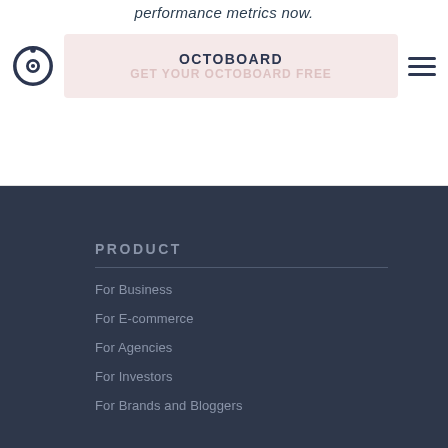performance metrics now.
[Figure (logo): Octoboard circular logo icon in dark navy blue]
OCTOBOARD
GET YOUR OCTOBOARD FREE
[Figure (other): Hamburger menu icon with three horizontal lines]
PRODUCT
For Business
For E-commerce
For Agencies
For Investors
For Brands and Bloggers